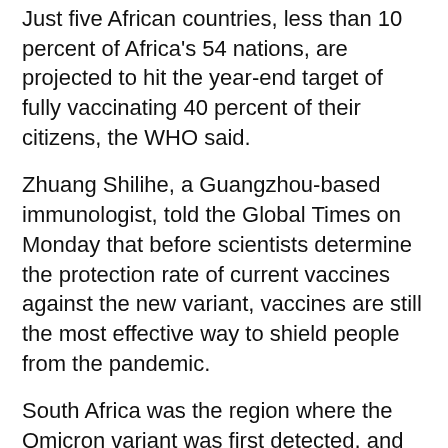Just five African countries, less than 10 percent of Africa's 54 nations, are projected to hit the year-end target of fully vaccinating 40 percent of their citizens, the WHO said.
Zhuang Shilihe, a Guangzhou-based immunologist, told the Global Times on Monday that before scientists determine the protection rate of current vaccines against the new variant, vaccines are still the most effective way to shield people from the pandemic.
South Africa was the region where the Omicron variant was first detected, and India was where the Delta variant was first reported, indicating that new variants tend to emerge in regions with relatively weak pandemic response strategies and low vaccination rates, Jiang Chunlai, a professor from Jilin University's School of Life Sciences, told the Global Times on Monday.
Experts said if the international community fails to help Africa improve vaccination rates, the rest of the world will become as vulnerable as Africa in facing new possible variants.
A Beijing-based immunologist told the Global Times on